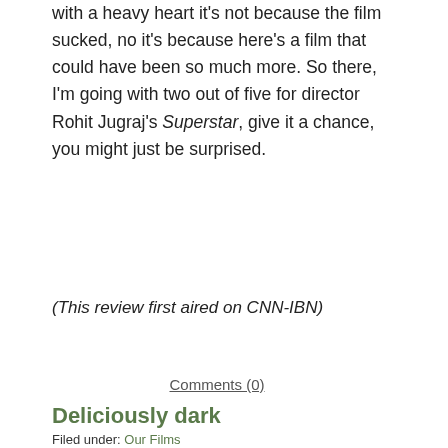with a heavy heart it's not because the film sucked, no it's because here's a film that could have been so much more. So there, I'm going with two out of five for director Rohit Jugraj's Superstar, give it a chance, you might just be surprised.
(This review first aired on CNN-IBN)
Comments (0)
Deliciously dark
Filed under: Our Films